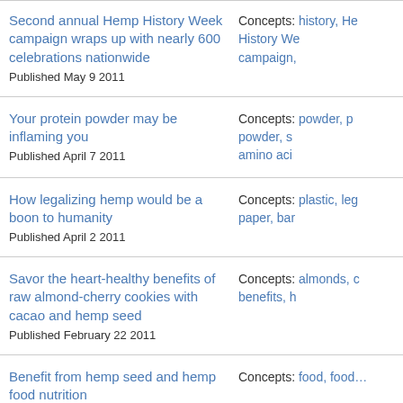Second annual Hemp History Week campaign wraps up with nearly 600 celebrations nationwide
Published May 9 2011
Concepts: history, He… History We… campaign,…
Your protein powder may be inflaming you
Published April 7 2011
Concepts: powder, p… powder, s… amino aci…
How legalizing hemp would be a boon to humanity
Published April 2 2011
Concepts: plastic, leg… paper, bar…
Savor the heart-healthy benefits of raw almond-cherry cookies with cacao and hemp seed
Published February 22 2011
Concepts: almonds, c… benefits, h…
Benefit from hemp seed and hemp food nutrition